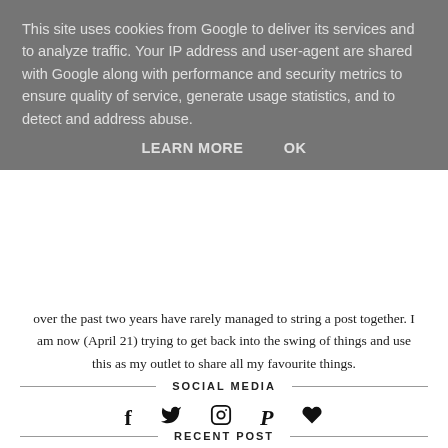This site uses cookies from Google to deliver its services and to analyze traffic. Your IP address and user-agent are shared with Google along with performance and security metrics to ensure quality of service, generate usage statistics, and to detect and address abuse.
LEARN MORE   OK
over the past two years have rarely managed to string a post together. I am now (April 21) trying to get back into the swing of things and use this as my outlet to share all my favourite things.
SOCIAL MEDIA
[Figure (infographic): Row of 5 social media icons: Facebook (f), Twitter (bird), Instagram (camera), Pinterest (P), heart/Bloglovin]
RECENT POST
Essential Products When Living With